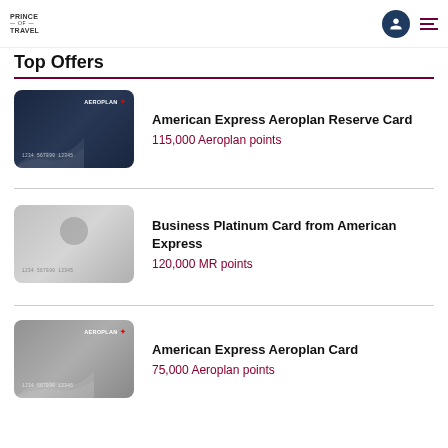Prince of Travel
Top Offers
American Express Aeroplan Reserve Card — 115,000 Aeroplan points
Business Platinum Card from American Express — 120,000 MR points
American Express Aeroplan Card — 75,000 Aeroplan points